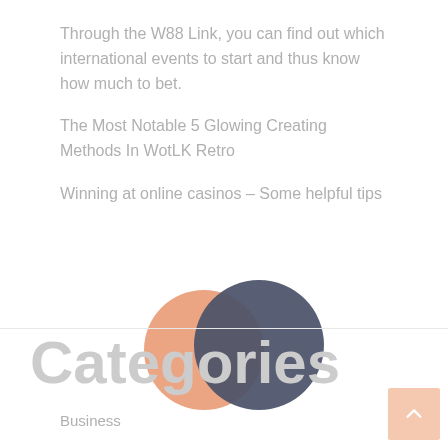Through the W88 Link, you can find out which international events to start and thus know how much to bet.
The Most Notable 5 Glowing Creating Methods In WotLK Retro
Winning at online casinos – Some helpful tips
[Figure (illustration): Two overlapping circles: an orange circle on the left and a dark navy/slate circle on the right, partially overlapping.]
Categories
Business
Education
Entertainment